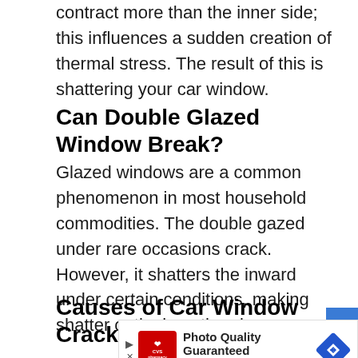contract more than the inner side; this influences a sudden creation of thermal stress. The result of this is shattering your car window.
Can Double Glazed Window Break?
Glazed windows are a common phenomenon in most household commodities. The double gazed under rare occasions crack. However, it shatters the inward under certain conditions, making shatter outlook on the glass.
Causes of Car Window Cracks
[Figure (other): CVS Pharmacy advertisement banner: Photo Quality Guaranteed, CVS Photo, with CVS logo and navigation arrow icon]